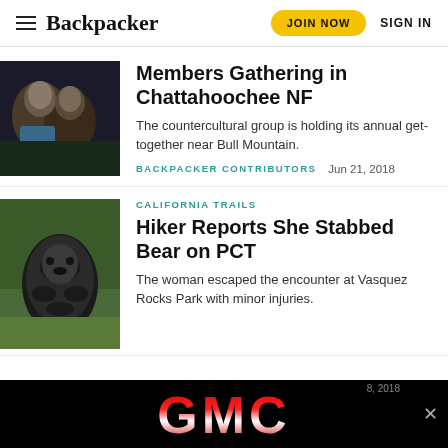Backpacker | JOIN NOW | SIGN IN
[Figure (photo): Two people hugging outdoors at night]
Members Gathering in Chattahoochee NF
The countercultural group is holding its annual get-together near Bull Mountain.
BACKPACKER CONTRIBUTORS   Jun 21, 2018
CALIFORNIA TRAILS
[Figure (photo): Black bear standing in grass and shrubs]
Hiker Reports She Stabbed Bear on PCT
The woman escaped the encounter at Vasquez Rocks Park with minor injuries.
[Figure (other): GMC advertisement banner in black background]